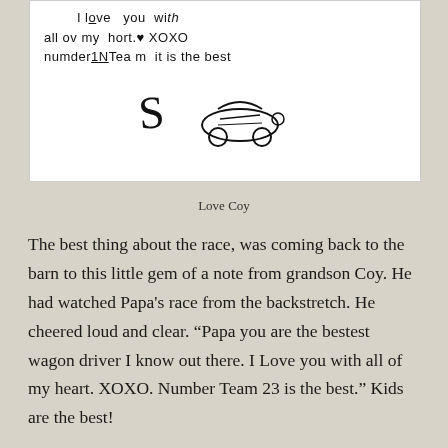[Figure (photo): A child's handwritten note on white paper reading: 'I love you with all of my heart <heart> XOXO numder1N Team 23 it is the best S' with a drawing of a race car]
Love Coy
The best thing about the race, was coming back to the barn to this little gem of a note from grandson Coy. He had watched Papa's race from the backstretch. He cheered loud and clear. “Papa you are the bestest wagon driver I know out there. I Love you with all of my heart. XOXO. Number Team 23 is the best.” Kids are the best!